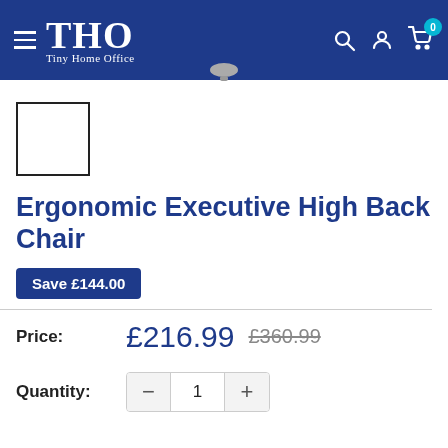THO Tiny Home Office — navigation bar with search, account, cart (0)
[Figure (photo): Small thumbnail image placeholder (empty white box with black border) for the chair product]
Ergonomic Executive High Back Chair
Save £144.00
Price: £216.99  £360.99
Quantity: − 1 +